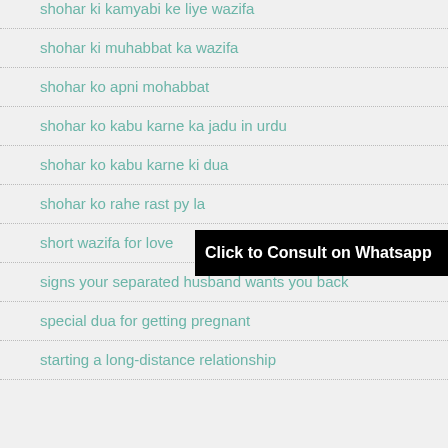shohar ki kamyabi ke liye wazifa
shohar ki muhabbat ka wazifa
shohar ko apni mohabbat
shohar ko kabu karne ka jadu in urdu
shohar ko kabu karne ki dua
shohar ko rahe rast py la
short wazifa for love
signs your separated husband wants you back
special dua for getting pregnant
starting a long-distance relationship
[Figure (other): Black banner overlay with white bold text: Click to Consult on Whatsapp]